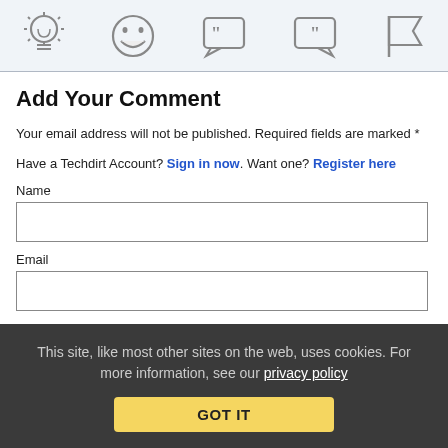[icons: lightbulb, emoji laugh, quote-left, quote-right, flag]
Add Your Comment
Your email address will not be published. Required fields are marked *
Have a Techdirt Account? Sign in now. Want one? Register here
Name
Email
This site, like most other sites on the web, uses cookies. For more information, see our privacy policy
GOT IT